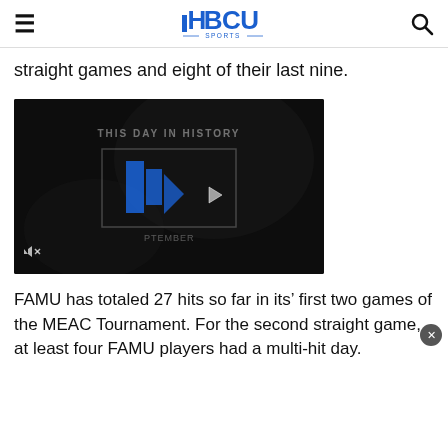HBCU Sports
straight games and eight of their last nine.
[Figure (screenshot): Video player thumbnail showing 'THIS DAY IN HISTORY' HBCU Sports branded video with blue logo/play button, mute icon in lower left, and 'SEPTEMBER' text at bottom.]
FAMU has totaled 27 hits so far in its’ first two games of the MEAC Tournament. For the second straight game, at least four FAMU players had a multi-hit day.